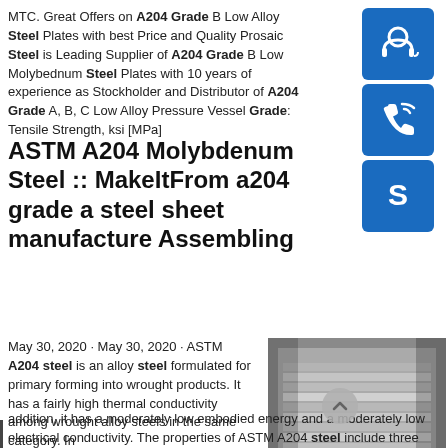MTC. Great Offers on A204 Grade B Low Alloy Steel Plates with best Price and Quality Prosaic Steel is Leading Supplier of A204 Grade B Low Molybednum Steel Plates with 10 years of experience as Stockholder and Distributor of A204 Grade A, B, C Low Alloy Pressure Vessel Grade: Tensile Strength, ksi [MPa]
[Figure (illustration): Blue square icon with white customer support headset silhouette]
[Figure (illustration): Blue square icon with white telephone/call icon]
[Figure (illustration): Blue square icon with white Skype logo]
ASTM A204 Molybdenum Steel :: MakeItFrom a204 grade a steel sheet manufacture Assembling
May 30, 2020 · May 30, 2020 · ASTM A204 steel is an alloy steel formulated for primary forming into wrought products. It has a fairly high thermal conductivity among wrought alloy steels in the same category. In addition, it has a moderately low embodied energy and a moderately low electrical conductivity. The properties of ASTM A204 steel include three common variations. Estimated Reading Time: 50 secsASTM A204grA,B,C - BEBON steel - steel-plate-sheet a204 grade a
[Figure (photo): Photo of stacked steel plates/sheets in a warehouse or industrial setting]